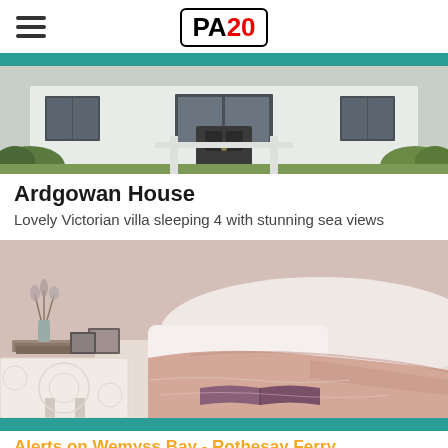PA20
[Figure (photo): Exterior photo of Ardgowan House, a white Victorian villa with black door and windows, surrounded by greenery]
Ardgowan House
Lovely Victorian villa sleeping 4 with stunning sea views
[Figure (photo): Interior bedroom photo showing a bed with pink/blush blanket, a book open on the bed, a lace-covered side table with books and framed photos, and a vase with dried flowers]
Alerts on Wemyss Bay - Rothesay Ferry